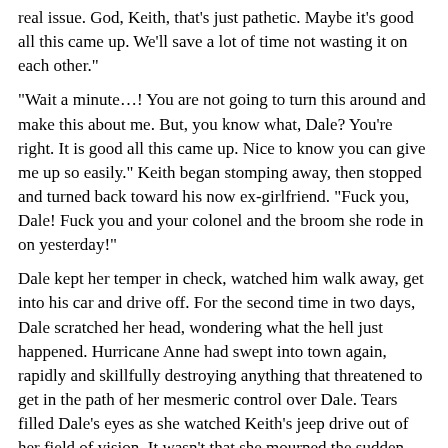real issue. God, Keith, that's just pathetic. Maybe it's good all this came up. We'll save a lot of time not wasting it on each other."
"Wait a minute…! You are not going to turn this around and make this about me. But, you know what, Dale? You're right. It is good all this came up. Nice to know you can give me up so easily." Keith began stomping away, then stopped and turned back toward his now ex-girlfriend. "Fuck you, Dale! Fuck you and your colonel and the broom she rode in on yesterday!"
Dale kept her temper in check, watched him walk away, get into his car and drive off. For the second time in two days, Dale scratched her head, wondering what the hell just happened. Hurricane Anne had swept into town again, rapidly and skillfully destroying anything that threatened to get in the path of her mesmeric control over Dale. Tears filled Dale's eyes as she watched Keith's jeep drive out of her field of vision. It wasn't that she mourned the sudden loss of the relationship; she was very disturbed by the fact that she really didn't care.
*****
To Be Continued
Return to the Academy